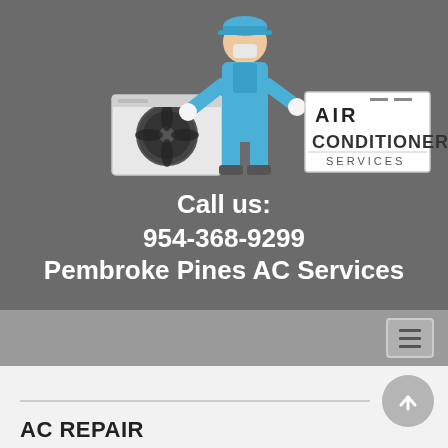[Figure (illustration): Hero banner with AC technician illustration, AC unit icon, and Air Conditioner Services logo text on dark gray background]
Call us:
954-368-9299
Pembroke Pines AC Services
[Figure (other): Navigation bar with hamburger menu button]
[Figure (other): Scroll-to-top circular button with upward arrow]
AC REPAIR